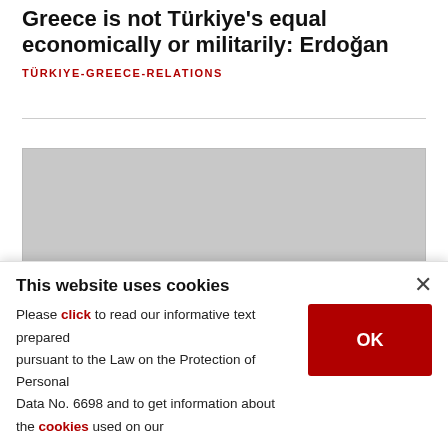Greece is not Türkiye's equal economically or militarily: Erdoğan
TÜRKIYE-GREECE-RELATIONS
[Figure (photo): Large image placeholder (grey box) — photo not loaded]
10... (partially visible caption text cut off)
This website uses cookies
Please click to read our informative text prepared pursuant to the Law on the Protection of Personal Data No. 6698 and to get information about the cookies used on our